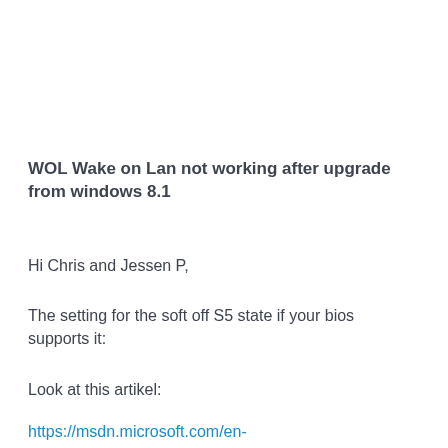WOL Wake on Lan not working after upgrade from windows 8.1
Hi Chris and Jessen P,
The setting for the soft off S5 state if your bios supports it:
Look at this artikel:
https://msdn.microsoft.com/en-